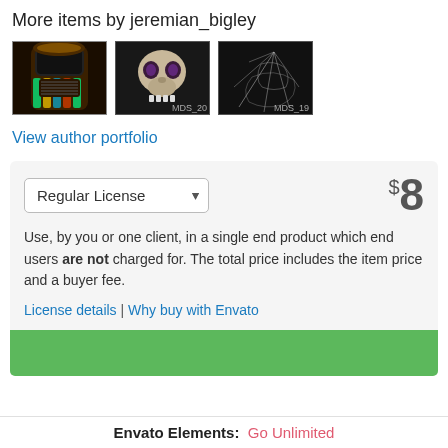More items by jeremian_bigley
[Figure (photo): Three thumbnail images: a jukebox (colorful lit), a skull labeled MDS_20 (dark background), and a cobweb labeled MDS_19 (dark background)]
View author portfolio
Regular License  $8
Use, by you or one client, in a single end product which end users are not charged for. The total price includes the item price and a buyer fee.
License details | Why buy with Envato
Envato Elements:  Go Unlimited